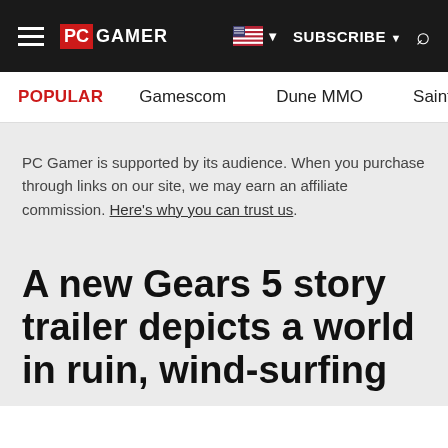PC GAMER | SUBSCRIBE | Search
POPULAR   Gamescom   Dune MMO   Saints Ro
PC Gamer is supported by its audience. When you purchase through links on our site, we may earn an affiliate commission. Here's why you can trust us.
A new Gears 5 story trailer depicts a world in ruin, wind-surfing